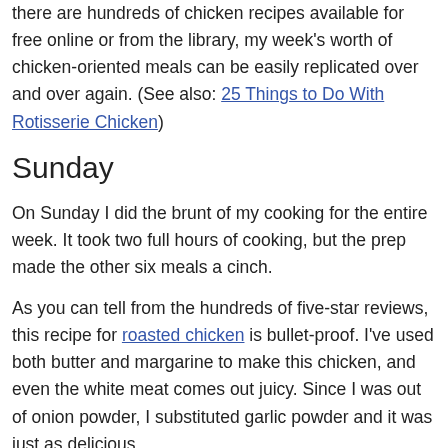there are hundreds of chicken recipes available for free online or from the library, my week's worth of chicken-oriented meals can be easily replicated over and over again. (See also: 25 Things to Do With Rotisserie Chicken)
Sunday
On Sunday I did the brunt of my cooking for the entire week. It took two full hours of cooking, but the prep made the other six meals a cinch.
As you can tell from the hundreds of five-star reviews, this recipe for roasted chicken is bullet-proof. I've used both butter and margarine to make this chicken, and even the white meat comes out juicy. Since I was out of onion powder, I substituted garlic powder and it was just as delicious.